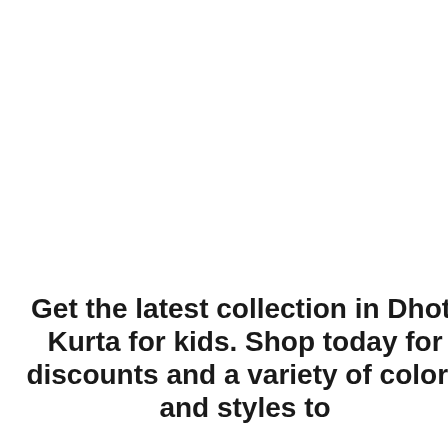Like what you see?
Thanks for being a fan! Sh... this post or join our webs... Social Media and stay in t... know.
Get the latest collection in Dhoti Kurta for kids. Shop today for discounts and a variety of colors and styles to
We one kids co but
[Figure (infographic): Social sharing buttons: Facebook Share (blue), Google+ Share (red-orange), Pinterest Pin it (dark red), Tumblr Share (dark navy), Love button (pink-red)]